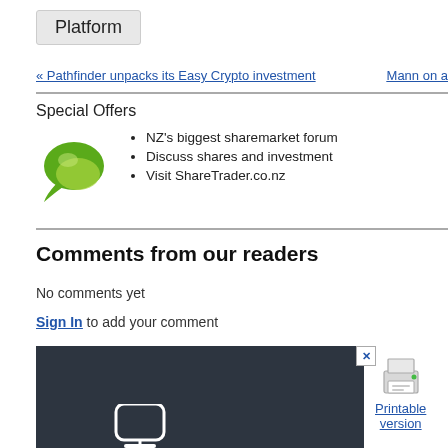Platform
« Pathfinder unpacks its Easy Crypto investment   Mann on a
Special Offers
NZ's biggest sharemarket forum
Discuss shares and investment
Visit ShareTrader.co.nz
Comments from our readers
No comments yet
Sign In to add your comment
[Figure (other): Advertisement banner: dark background with text 'We have been awarded ...' and trophy icon. Close button top right.]
[Figure (other): Printer icon with link 'Printable version']